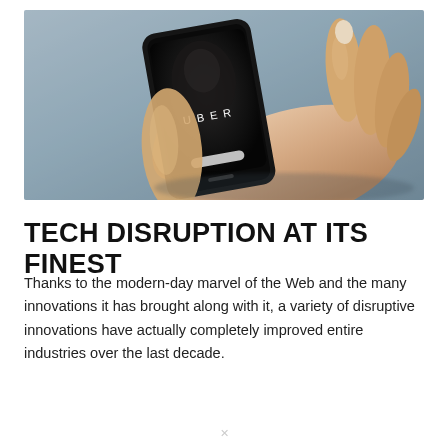[Figure (photo): A hand holding a black smartphone displaying the Uber app logo on its screen, set against a blurred grey-blue background.]
TECH DISRUPTION AT ITS FINEST
Thanks to the modern-day marvel of the Web and the many innovations it has brought along with it, a variety of disruptive innovations have actually completely improved entire industries over the last decade.